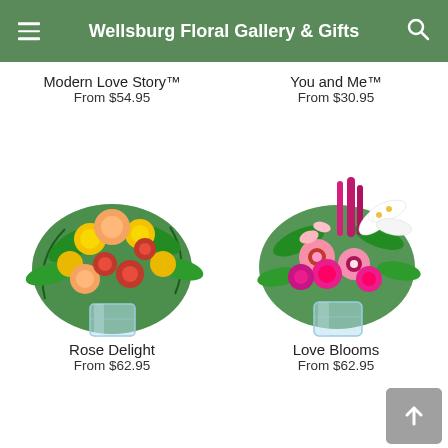Wellsburg Floral Gallery & Gifts
Modern Love Story™
From $54.95
You and Me™
From $30.95
[Figure (photo): Bouquet of yellow, peach, and red roses in a glass vase — Rose Delight]
[Figure (photo): Mixed flower arrangement with pink roses, white lilies, pink gerberas, and snapdragons in a glass vase — Love Blooms]
Rose Delight
From $62.95
Love Blooms
From $62.95